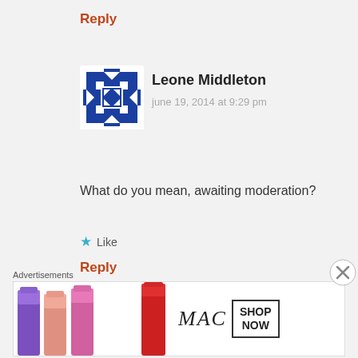Reply
[Figure (illustration): Blue geometric snowflake/cross avatar for Leone Middleton]
Leone Middleton
june 19, 2014 at 9:29 pm
What do you mean, awaiting moderation?
Like
Reply
[Figure (illustration): Colorful mosaic tile pattern avatar for Sue]
Sue
Advertisements
[Figure (illustration): MAC cosmetics advertisement banner with lipsticks, MAC logo, and SHOP NOW box]